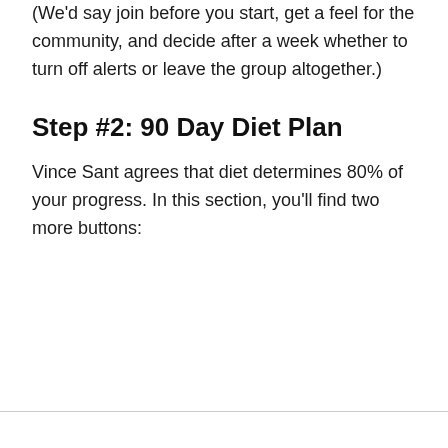(We'd say join before you start, get a feel for the community, and decide after a week whether to turn off alerts or leave the group altogether.)
Step #2: 90 Day Diet Plan
Vince Sant agrees that diet determines 80% of your progress. In this section, you'll find two more buttons: